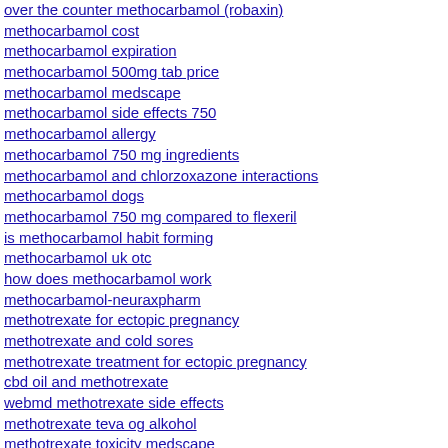over the counter methocarbamol (robaxin)
methocarbamol cost
methocarbamol expiration
methocarbamol 500mg tab price
methocarbamol medscape
methocarbamol side effects 750
methocarbamol allergy
methocarbamol 750 mg ingredients
methocarbamol and chlorzoxazone interactions
methocarbamol dogs
methocarbamol 750 mg compared to flexeril
is methocarbamol habit forming
methocarbamol uk otc
how does methocarbamol work
methocarbamol-neuraxpharm
methotrexate for ectopic pregnancy
methotrexate and cold sores
methotrexate treatment for ectopic pregnancy
cbd oil and methotrexate
webmd methotrexate side effects
methotrexate teva og alkohol
methotrexate toxicity medscape
methotrexate crohn's and colitis uk
methotrexate sodium generic name
cpt code for methotrexate level